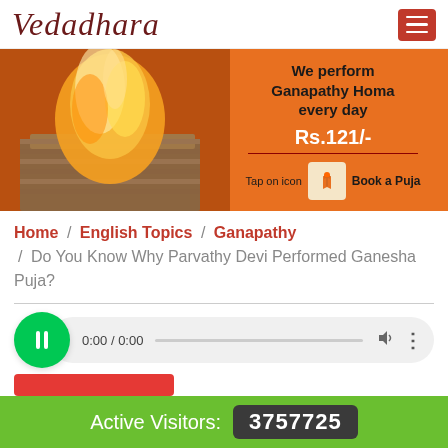Vedadhara
[Figure (infographic): Orange banner showing a fire ritual (homa) with text: We perform Ganapathy Homa every day. Rs.121/-. Tap on icon [icon] Book a Puja]
Home / English Topics / Ganapathy / Do You Know Why Parvathy Devi Performed Ganesha Puja?
[Figure (screenshot): Audio player showing 0:00 / 0:00 with progress bar, volume icon and more options icon, with green play button circle]
Active Visitors: 3757725